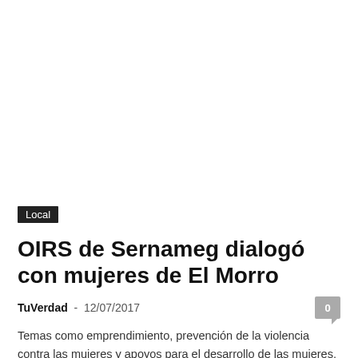[Figure (photo): Large white/blank image area at top of article page]
Local
OIRS de Sernameg dialogó con mujeres de El Morro
TuVerdad  -  12/07/2017
Temas como emprendimiento, prevención de la violencia contra las mujeres y apoyos para el desarrollo de las mujeres, fueron los tópicos tratados por la...